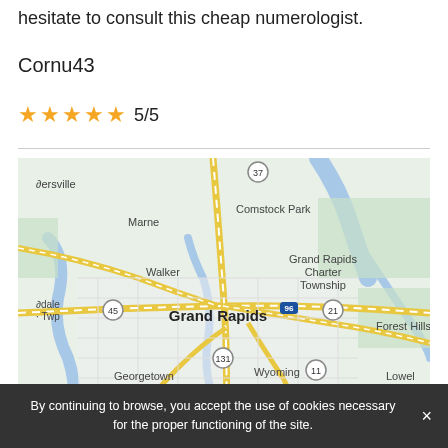hesitate to consult this cheap numerologist.
Cornu43
★★★★★ 5/5
[Figure (map): Google Maps view of Grand Rapids, Michigan area showing surrounding cities: Marne, Comstock Park, Walker, Grand Rapids Charter Township, Grand Rapids, Forest Hills, Georgetown Twp, Wyoming, Hudsonville, Kentwood, Cutlerville, Alaska. Highway routes 37, 45, 96, 21, 131, 11, 6 are visible.]
By continuing to browse, you accept the use of cookies necessary for the proper functioning of the site.